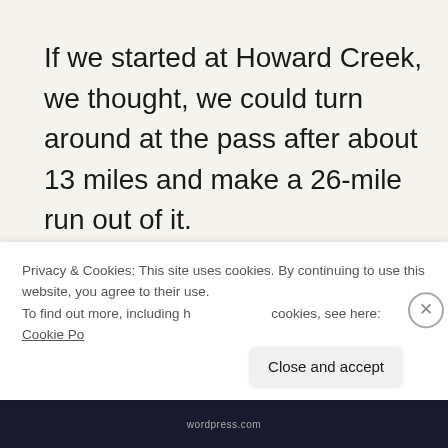If we started at Howard Creek, we thought, we could turn around at the pass after about 13 miles and make a 26-mile run out of it.
Long story short: The trail was miles longer than listed and appeared to
Privacy & Cookies: This site uses cookies. By continuing to use this website, you agree to their use.
To find out more, including how to control cookies, see here: Cookie Policy
Close and accept